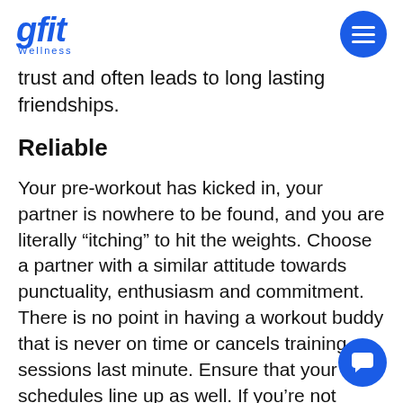gfit Wellness
trust and often leads to long lasting friendships.
Reliable
Your pre-workout has kicked in, your partner is nowhere to be found, and you are literally “itching” to hit the weights. Choose a partner with a similar attitude towards punctuality, enthusiasm and commitment. There is no point in having a workout buddy that is never on time or cancels training sessions last minute. Ensure that your schedules line up as well. If you’re not available on the same days or times as your workout partner, the relationship isn’t going to work.